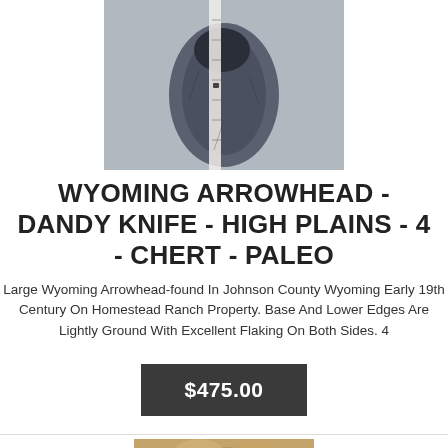[Figure (photo): Close-up photo of a Wyoming arrowhead / Dandy knife artifact, gray-blue chert stone with flaking, shown against a ruler for scale]
WYOMING ARROWHEAD - DANDY KNIFE - HIGH PLAINS - 4 - CHERT - PALEO
Large Wyoming Arrowhead-found In Johnson County Wyoming Early 19th Century On Homestead Ranch Property. Base And Lower Edges Are Lightly Ground With Excellent Flaking On Both Sides. 4
$475.00
[Figure (photo): Partial bottom photo of another artifact item, partially visible]